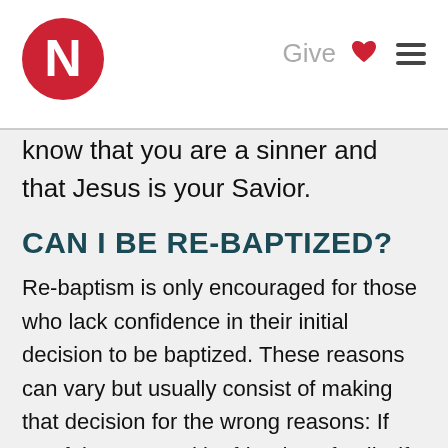N  Give  ☰
know that you are a sinner and that Jesus is your Savior.
CAN I BE RE-BAPTIZED?
Re-baptism is only encouraged for those who lack confidence in their initial decision to be baptized. These reasons can vary but usually consist of making that decision for the wrong reasons: If you felt pressured by friends or family, if you did it out of guilt or if